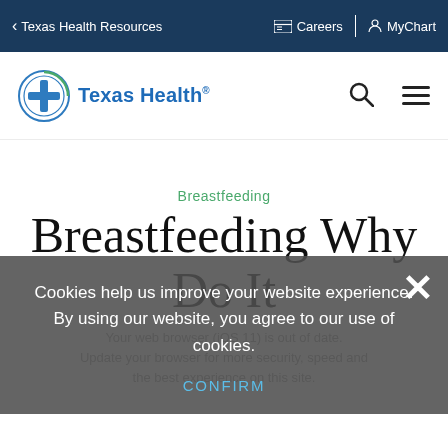< Texas Health Resources   Careers   MyChart
[Figure (logo): Texas Health logo with circular cross icon and blue 'Texas Health' wordmark]
Breastfeeding
Breastfeeding Why Do It
Cookies help us improve your website experience. By using our website, you agree to our use of cookies.
Your web browser (iOS 11) is out of date. Update your browser for more security, speed and the best experience on this site.
CONFIRM